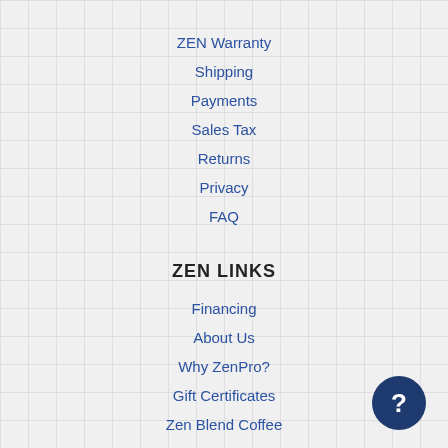ZEN Warranty
Shipping
Payments
Sales Tax
Returns
Privacy
FAQ
ZEN LINKS
Financing
About Us
Why ZenPro?
Gift Certificates
Zen Blend Coffee
On-Site Studio